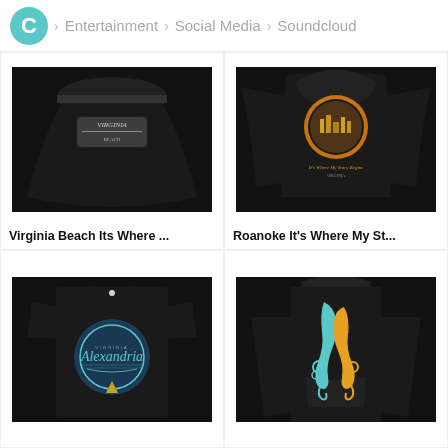C > Entertainment > Social Media > Soundcloud
[Figure (photo): Black skirt/shirt with Virginia Beach graphic design]
Virginia Beach Its Where ...
[Figure (photo): Black hoodie with Roanoke Its Where My Story Begins graphic design]
Roanoke It's Where My St...
[Figure (photo): Black t-shirt with Alexandria Virginia circular badge design]
[Figure (photo): Black hoodie with colorful musical instrument graphic design]